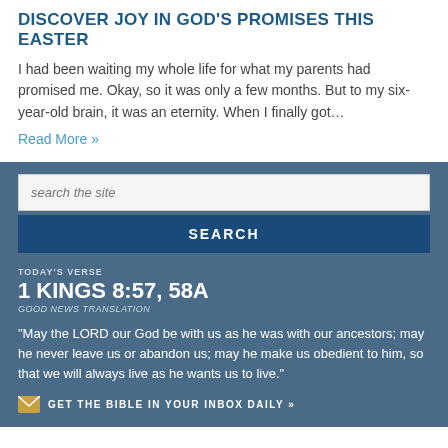DISCOVER JOY IN GOD'S PROMISES THIS EASTER
I had been waiting my whole life for what my parents had promised me. Okay, so it was only a few months. But to my six-year-old brain, it was an eternity. When I finally got…
Read More »
search the site
SEARCH
TODAY'S VERSE
1 KINGS 8:57, 58A
GOOD NEWS TRANSLATION
“May the LORD our God be with us as he was with our ancestors; may he never leave us or abandon us; may he make us obedient to him, so that we will always live as he wants us to live.”
GET THE BIBLE IN YOUR INBOX DAILY »